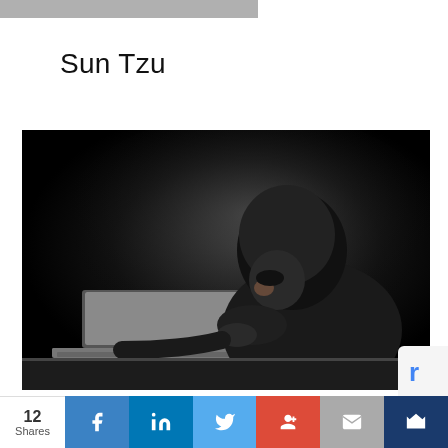Sun Tzu
[Figure (photo): Person wearing a black balaclava and dark hoodie, hunched over a laptop computer against a dark background, evoking the image of a hacker or cybercriminal.]
12 Shares — Social share bar with Facebook, LinkedIn, Twitter, Google+, Email, Crown icons